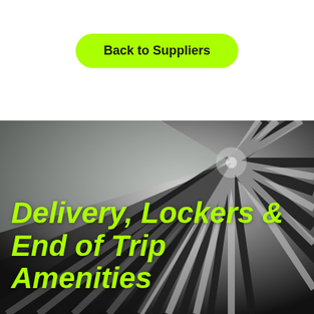Back to Suppliers
[Figure (photo): Black and white architectural photo showing a dramatic perspective view of a tunnel or corridor with radiating lines converging to a vanishing point, with light and dark alternating strips creating a optical illusion effect.]
Delivery, Lockers & End of Trip Amenities